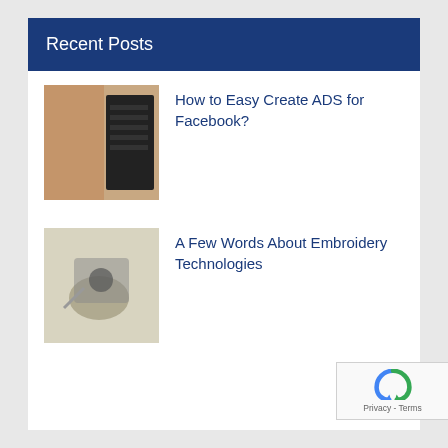Recent Posts
How to Easy Create ADS for Facebook?
A Few Words About Embroidery Technologies
10 Factors that Improve the Quality of Embroidery